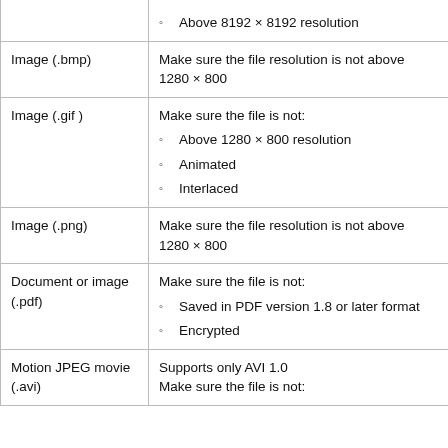| File type | Notes |
| --- | --- |
|  | • Highly compressed
◦ Above 8192 × 8192 resolution |
| Image (.bmp) | Make sure the file resolution is not above 1280 × 800 |
| Image (.gif ) | Make sure the file is not:
◦ Above 1280 × 800 resolution
◦ Animated
◦ Interlaced |
| Image (.png) | Make sure the file resolution is not above 1280 × 800 |
| Document or image (.pdf) | Make sure the file is not:
◦ Saved in PDF version 1.8 or later format
◦ Encrypted |
| Motion JPEG movie (.avi) | Supports only AVI 1.0
Make sure the file is not: |